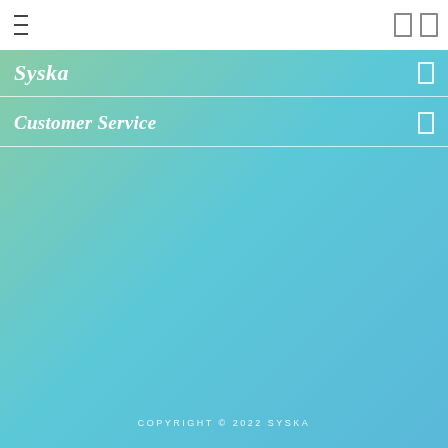Syska
Customer Service
COPYRIGHT © 2022 SYSKA